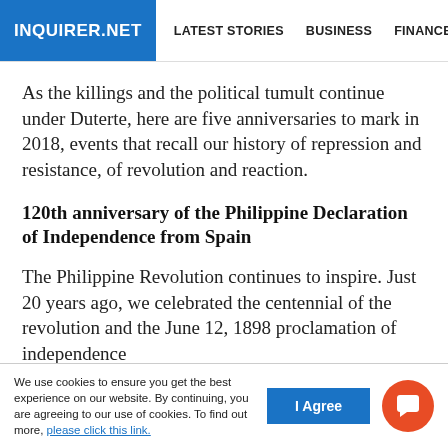INQUIRER.NET | LATEST STORIES | BUSINESS | FINANCE | TECHNOLO
As the killings and the political tumult continue under Duterte, here are five anniversaries to mark in 2018, events that recall our history of repression and resistance, of revolution and reaction.
120th anniversary of the Philippine Declaration of Independence from Spain
The Philippine Revolution continues to inspire. Just 20 years ago, we celebrated the centennial of the revolution and the June 12, 1898 proclamation of independence
We use cookies to ensure you get the best experience on our website. By continuing, you are agreeing to our use of cookies. To find out more, please click this link.